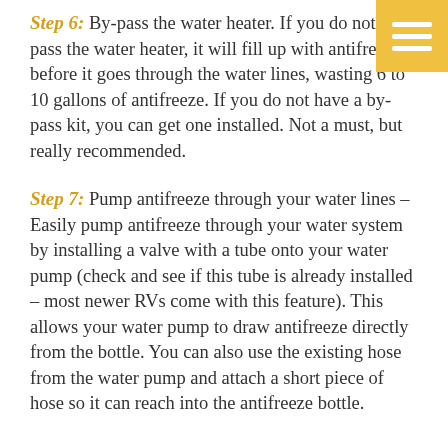Step 6: By-pass the water heater. If you do not by-pass the water heater, it will fill up with antifreeze before it goes through the water lines, wasting 6 to 10 gallons of antifreeze. If you do not have a by-pass kit, you can get one installed. Not a must, but really recommended.
Step 7: Pump antifreeze through your water lines – Easily pump antifreeze through your water system by installing a valve with a tube onto your water pump (check and see if this tube is already installed – most newer RVs come with this feature). This allows your water pump to draw antifreeze directly from the bottle. You can also use the existing hose from the water pump and attach a short piece of hose so it can reach into the antifreeze bottle.